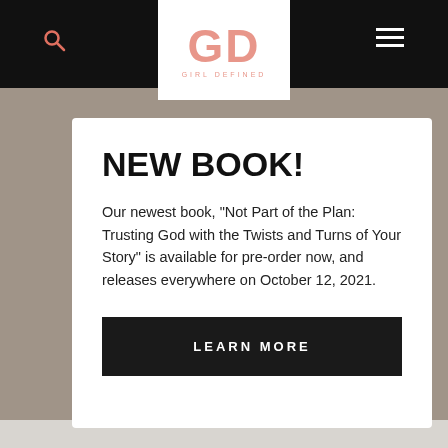GD GIRL DEFINED
NEW BOOK!
Our newest book, "Not Part of the Plan: Trusting God with the Twists and Turns of Your Story" is available for pre-order now, and releases everywhere on October 12, 2021.
LEARN MORE